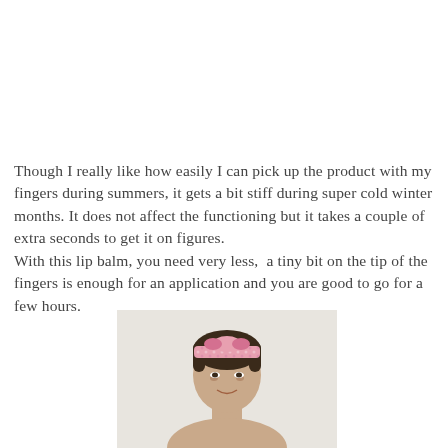Though I really like how easily I can pick up the product with my fingers during summers, it gets a bit stiff during super cold winter months. It does not affect the functioning but it takes a couple of extra seconds to get it on figures.
With this lip balm, you need very less,  a tiny bit on the tip of the fingers is enough for an application and you are good to go for a few hours.
[Figure (photo): A woman with dark hair wearing a pink patterned headband/hair tie, photographed against a light gray/beige background, cropped to show head and upper shoulders.]